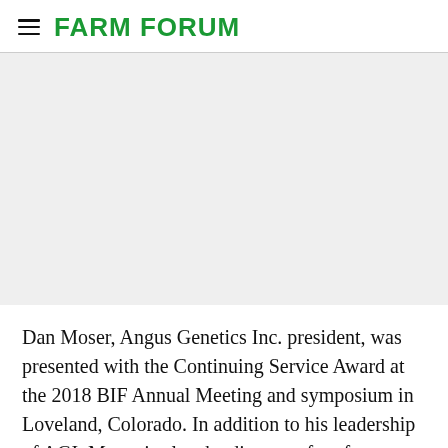FARM FORUM
[Figure (photo): Large image placeholder area, light gray background, content not visible]
Dan Moser, Angus Genetics Inc. president, was presented with the Continuing Service Award at the 2018 BIF Annual Meeting and symposium in Loveland, Colorado. In addition to his leadership of AGI, Moser is also the director of performance